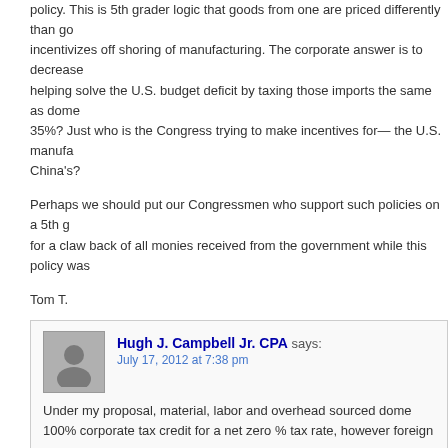policy. This is 5th grader logic that goods from one are priced differently than go... incentivizes off shoring of manufacturing. The corporate answer is to decrease ... helping solve the U.S. budget deficit by taxing those imports the same as dome... 35%? Just who is the Congress trying to make incentives for— the U.S. manufa... China's?
Perhaps we should put our Congressmen who support such policies on a 5th g... for a claw back of all monies received from the government while this policy was...
Tom T.
Hugh J. Campbell Jr. CPA says:
July 17, 2012 at 7:38 pm
Under my proposal, material, labor and overhead sourced dome... 100% corporate tax credit for a net zero % tax rate, however foreign source... overhead would not qualify for the domestic-sourcing tax credit and therefor... This proposal is designed to incentivize domestic-friendly behaviors, the exa... incentivize by the federal tax code over the last 15 years.
Trackbacks/Pingbacks